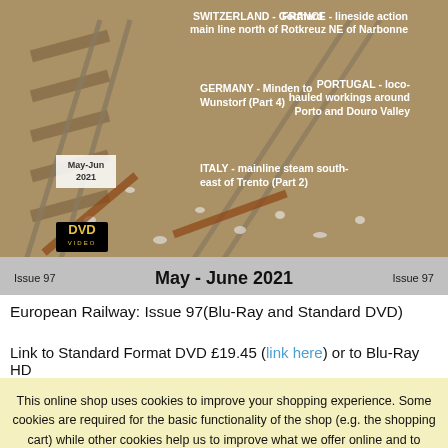[Figure (photo): DVD/Blu-Ray cover for European Railway Issue 97, May-June 2021, showing railway tracks with text overlays for Switzerland, France, Germany, Portugal, and Italy locations. Issue bar at bottom shows 'Issue 97   May - June 2021   Issue 97'.]
European Railway: Issue 97(Blu-Ray and Standard DVD)
Link to Standard Format DVD £19.45 (link here) or to Blu-Ray HD
This online shop uses cookies to improve your shopping experience. Some cookies are required for the basic functionality of the shop (e.g. the shopping cart) while other cookies help us to improve what we offer online and to operate efficiently. You can agree to all cookies by selecting “Accept all” or you can select "Accept required" to confirm only the required ones. You can change your selection at any time on the “Cookie Policy” page. You can find information about our use of cookies and other legal information here.